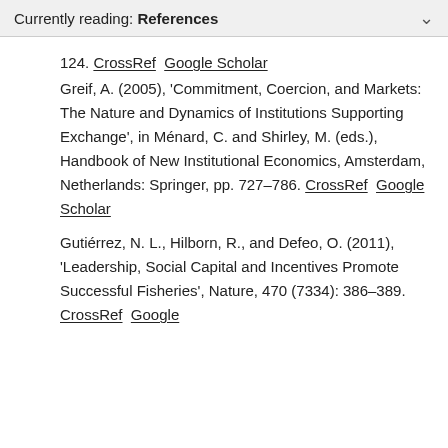Currently reading: References
124. CrossRef  Google Scholar
Greif, A. (2005), ‘Commitment, Coercion, and Markets: The Nature and Dynamics of Institutions Supporting Exchange’, in Ménard, C. and Shirley, M. (eds.), Handbook of New Institutional Economics, Amsterdam, Netherlands: Springer, pp. 727–786. CrossRef  Google Scholar
Gutiérrez, N. L., Hilborn, R., and Defeo, O. (2011), ‘Leadership, Social Capital and Incentives Promote Successful Fisheries’, Nature, 470 (7334): 386–389. CrossRef  Google